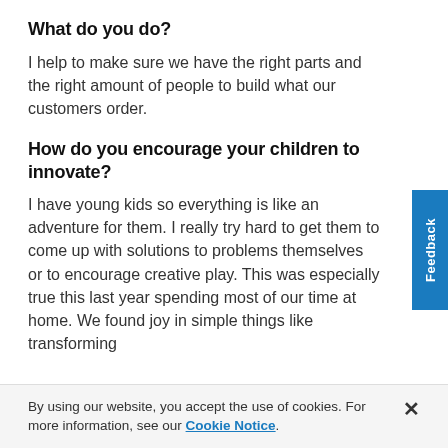What do you do?
I help to make sure we have the right parts and the right amount of people to build what our customers order.
How do you encourage your children to innovate?
I have young kids so everything is like an adventure for them. I really try hard to get them to come up with solutions to problems themselves or to encourage creative play. This was especially true this last year spending most of our time at home. We found joy in simple things like transforming
By using our website, you accept the use of cookies. For more information, see our Cookie Notice.